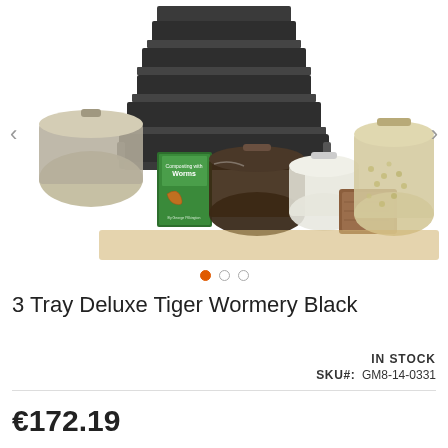[Figure (photo): Product photo of 3 Tray Deluxe Tiger Wormery Black with multiple trays stacked, bags of compost materials, a book titled 'Composting with Worms', coco coir block, and pellet bags]
3 Tray Deluxe Tiger Wormery Black
IN STOCK
SKU#: GM8-14-0331
€172.19